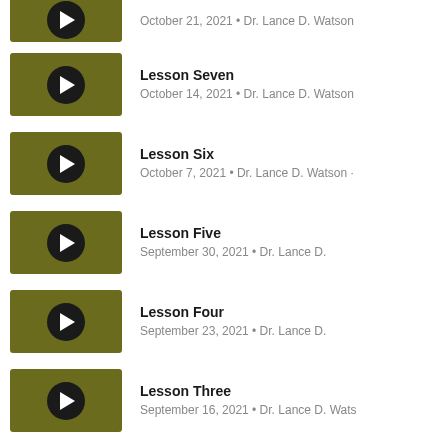Lesson Eight
October 21, 2021 • Dr. Lance D. Watson
Lesson Seven
October 14, 2021 • Dr. Lance D. Watson
Lesson Six
October 7, 2021 • Dr. Lance D. Watson
Lesson Five
September 30, 2021 • Dr. Lance D.
Lesson Four
September 23, 2021 • Dr. Lance D.
Lesson Three
September 16, 2021 • Dr. Lance D. Wats
Lesson Two (partial)